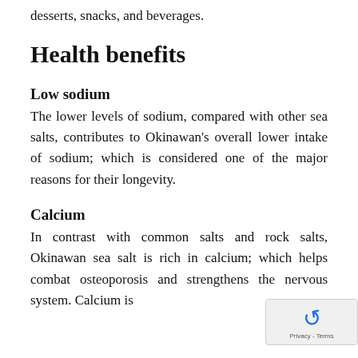desserts, snacks, and beverages.
Health benefits
Low sodium
The lower levels of sodium, compared with other sea salts, contributes to Okinawan's overall lower intake of sodium; which is considered one of the major reasons for their longevity.
Calcium
In contrast with common salts and rock salts, Okinawan sea salt is rich in calcium; which helps combat osteoporosis and strengthens the nervous system. Calcium is